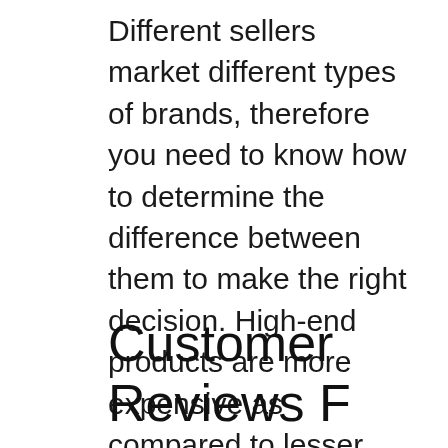Different sellers market different types of brands, therefore you need to know how to determine the difference between them to make the right decision. High-end products are more expensive as compared to lesser known brands.
Efficacy
Before purchasing Nail Dryer For Regular Polish You must be aware of its operation. Mostly, it depends what the manufacturer has specified for the unit.
The more complicated the specs more complex, the better the performance.
Customer Reviews F...